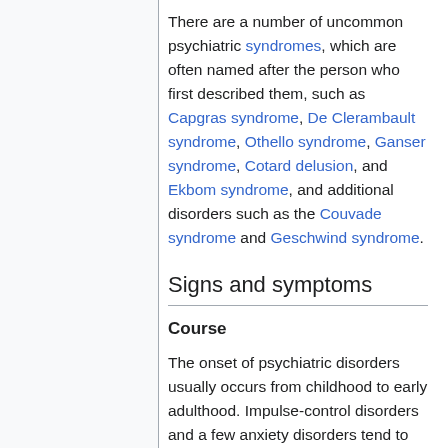There are a number of uncommon psychiatric syndromes, which are often named after the person who first described them, such as Capgras syndrome, De Clerambault syndrome, Othello syndrome, Ganser syndrome, Cotard delusion, and Ekbom syndrome, and additional disorders such as the Couvade syndrome and Geschwind syndrome.
Signs and symptoms
Course
The onset of psychiatric disorders usually occurs from childhood to early adulthood. Impulse-control disorders and a few anxiety disorders tend to appear in childhood. Some other anxiety disorders,